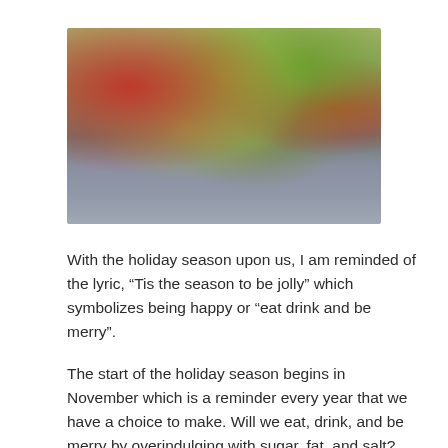[Figure (photo): A blurred photograph showing colorful holiday food or produce items with red, green, and yellow colors in the upper portion, and a grayish-blue surface in the lower portion.]
With the holiday season upon us, I am reminded of the lyric, “Tis the season to be jolly” which symbolizes being happy or “eat drink and be merry”.
The start of the holiday season begins in November which is a reminder every year that we have a choice to make. Will we eat, drink, and be merry by overindulging with sugar, fat, and salt?